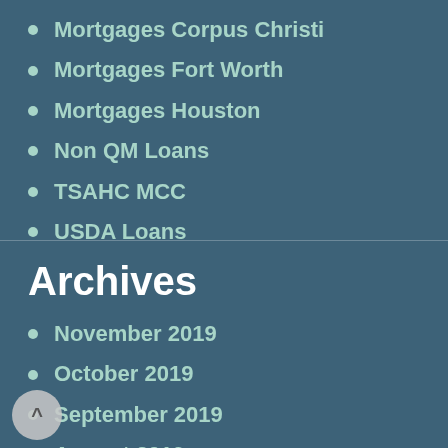Mortgages Corpus Christi
Mortgages Fort Worth
Mortgages Houston
Non QM Loans
TSAHC MCC
USDA Loans
Archives
November 2019
October 2019
September 2019
August 2019
July 2019